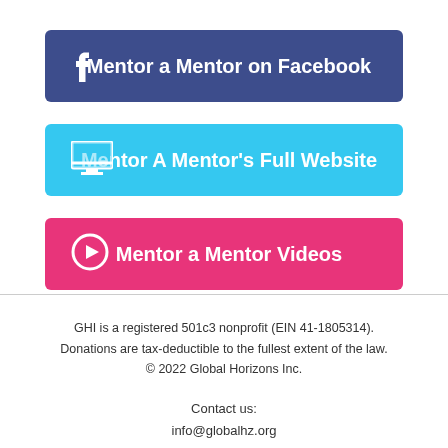[Figure (other): Blue rounded button with Facebook icon and text 'Mentor a Mentor on Facebook']
[Figure (other): Cyan rounded button with monitor/desktop icon and text 'Mentor A Mentor's Full Website']
[Figure (other): Pink/magenta rounded button with play arrow icon and text 'Mentor a Mentor Videos']
GHI is a registered 501c3 nonprofit (EIN 41-1805314). Donations are tax-deductible to the fullest extent of the law. © 2022 Global Horizons Inc.

Contact us:
info@globalhz.org
(612) 294-0419